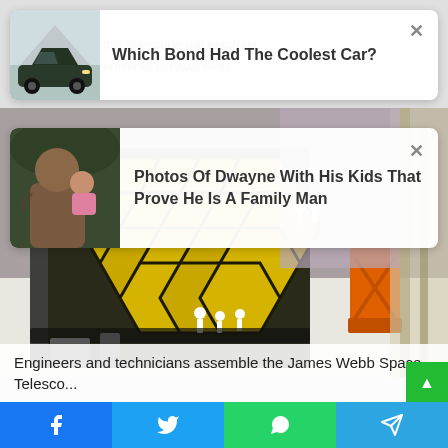...ivanced that this telescope will teach us about how the universe is expanding.
[Figure (screenshot): Ad card overlay: Which Bond Had The Coolest Car? with thumbnail of dark green Aston Martin, close button X]
[Figure (screenshot): Ad card overlay: Photos Of Dwayne With His Kids That Prove He Is A Family Man with thumbnail of Dwayne Johnson holding a small child, close button X]
[Figure (photo): James Webb Space Telescope being assembled by engineers and technicians in a large clean room facility. Golden hexagonal mirror panels visible, workers in white suits, orange scissor lifts.]
Engineers and technicians assemble the James Webb Space Telesco...
[Figure (screenshot): Social share bar with Facebook, Twitter, WhatsApp, and Telegram icons at the bottom of the page]